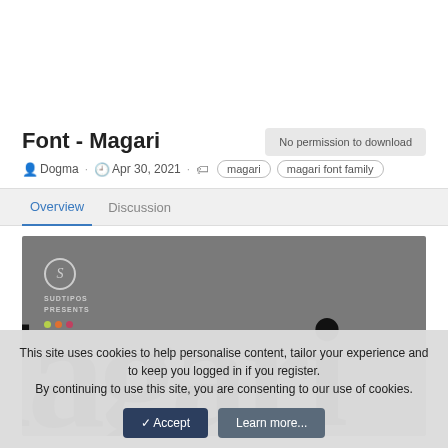Font - Magari
No permission to download
Dogma · Apr 30, 2021 · magari magari font family
Overview   Discussion
[Figure (illustration): Preview image of the Magari font on a grey background. Shows SUDTIPOS PRESENTS text and logo on the left, with large bold 'Magari' typeface displayed prominently.]
This site uses cookies to help personalise content, tailor your experience and to keep you logged in if you register.
By continuing to use this site, you are consenting to our use of cookies.